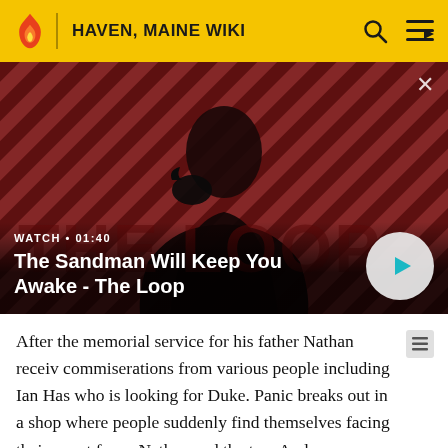HAVEN, MAINE WIKI
[Figure (screenshot): Video thumbnail showing a dark-cloaked figure with a raven on their shoulder against a red and black diagonal striped background. Text overlay reads: WATCH • 01:40 / The Sandman Will Keep You Awake - The Loop. A circular play button is visible on the right.]
After the memorial service for his father Nathan receiv commiserations from various people including Ian Has who is looking for Duke. Panic breaks out in a shop where people suddenly find themselves facing their worst fears. Nathan and the two Audreys soon get the idea everyone